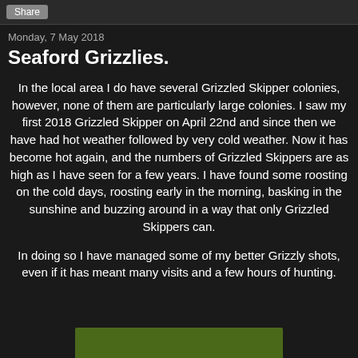Share
Monday, 7 May 2018
Seaford Grizzlies.
In the local area I do have several Grizzled Skipper colonies, however, none of them are particularly large colonies. I saw my first 2018 Grizzled Skipper on April 22nd and since then we have had hot weather followed by very cold weather. Now it has become hot again, and the numbers of Grizzled Skippers are as high as I have seen for a few years. I have found some roosting on the cold days, roosting early in the morning, basking in the sunshine and buzzing around in a way that only Grizzled Skippers can.
In doing so I have managed some of my better Grizzly shots, even if it has meant many visits and a few hours of hunting.
[Figure (photo): Bottom portion of a photo, showing a green/olive colored background, partially visible at the bottom of the page.]